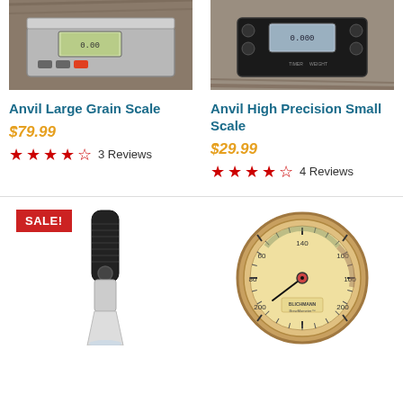[Figure (photo): Anvil Large Grain Scale - digital scale on wooden surface]
Anvil Large Grain Scale
$79.99
★★★★☆ 3 Reviews
[Figure (photo): Anvil High Precision Small Scale - black digital scale on wooden surface]
Anvil High Precision Small Scale
$29.99
★★★★☆ 4 Reviews
SALE!
[Figure (photo): Refractometer - handheld optical instrument]
[Figure (photo): BrewMometer thermometer gauge dial]